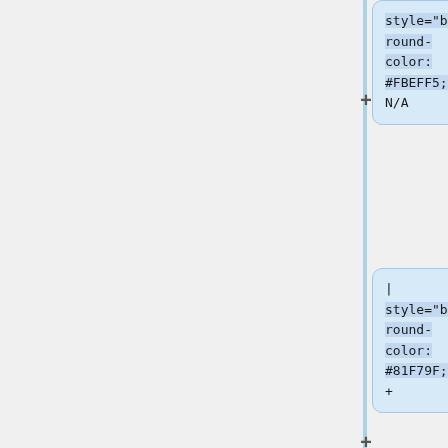[Figure (screenshot): A diff/merge view showing code boxes with wiki-table style markup containing background-color CSS values (#FBEFF5, #81F79F). Blue and white rounded boxes show added/changed lines with + markers. A yellow box at the bottom is partially visible.]
| style="background-round-color: #FBEFF5;" | N/A
| style="background-round-color: #81F79F;" | +
| style="background-round-color: #81F79F;" | +
| style="background-round-color: #81F79F;" | +
| style="background-round-color: